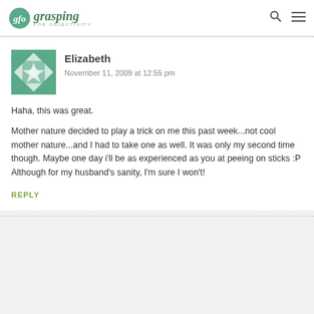gfo grasping FOR OBJECTIVITY
Elizabeth
November 11, 2009 at 12:55 pm
Haha, this was great.

Mother nature decided to play a trick on me this past week...not cool mother nature...and I had to take one as well. It was only my second time though. Maybe one day i'll be as experienced as you at peeing on sticks :P Although for my husband's sanity, I'm sure I won't!
REPLY